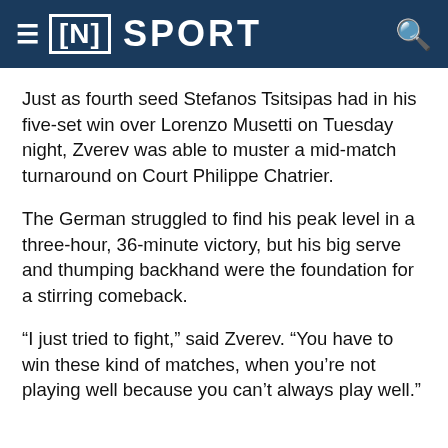≡ [N] SPORT
Just as fourth seed Stefanos Tsitsipas had in his five-set win over Lorenzo Musetti on Tuesday night, Zverev was able to muster a mid-match turnaround on Court Philippe Chatrier.
The German struggled to find his peak level in a three-hour, 36-minute victory, but his big serve and thumping backhand were the foundation for a stirring comeback.
“I just tried to fight,” said Zverev. “You have to win these kind of matches, when you’re not playing well because you can’t always play well.”